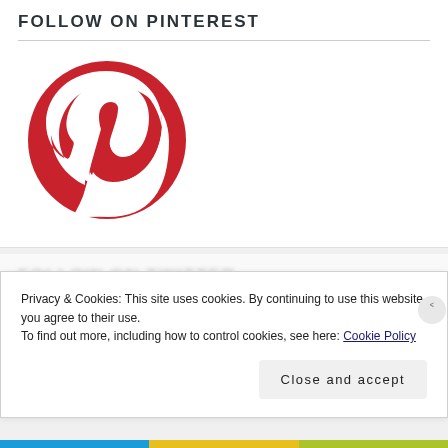FOLLOW ON PINTEREST
[Figure (logo): Pinterest logo — red circle with white lowercase 'p' letter mark]
Privacy & Cookies: This site uses cookies. By continuing to use this website, you agree to their use.
To find out more, including how to control cookies, see here: Cookie Policy
Close and accept